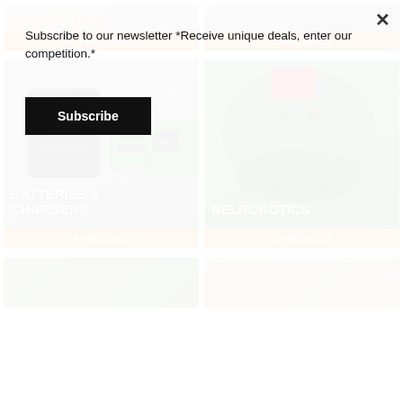Subscribe to our newsletter *Receive unique deals, enter our competition.*
Subscribe
[Figure (screenshot): Product category grid: row 1 partial - Ariens 26 PRODUCTS, right panel 1 PRODUCT; row 2 - BATTERIES & CHARGERS 124 PRODUCTS, BELROBOTICS 1 PRODUCT; row 3 partial cards at bottom]
26 PRODUCTS
1 PRODUCT
BATTERIES & CHARGERS
124 PRODUCTS
BELROBOTICS
1 PRODUCT